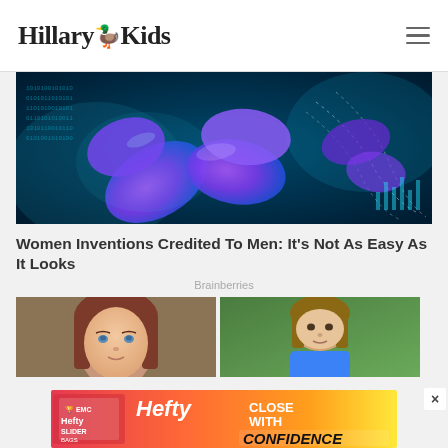Hillary Kids
[Figure (photo): Digital illustration of a chromosome structure glowing purple and blue against a dark background with binary code and data graphics]
Women Inventions Credited To Men: It's Not As Easy As It Looks
Brainberries
[Figure (photo): Two-panel image showing portraits of two young women/girls]
[Figure (photo): Hefty Slider Bags advertisement: CLOSE WITH CONFIDENCE]